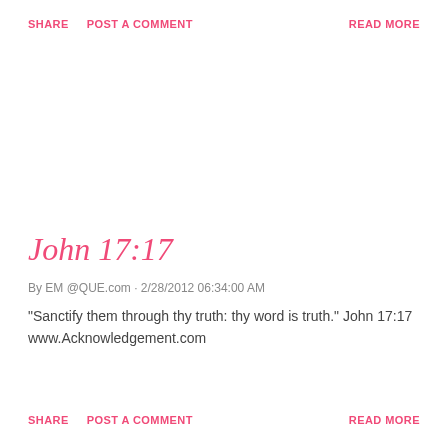SHARE   POST A COMMENT                                READ MORE
John 17:17
By EM @QUE.com · 2/28/2012 06:34:00 AM
"Sanctify them through thy truth: thy word is truth." John 17:17
www.Acknowledgement.com
SHARE   POST A COMMENT                                READ MORE